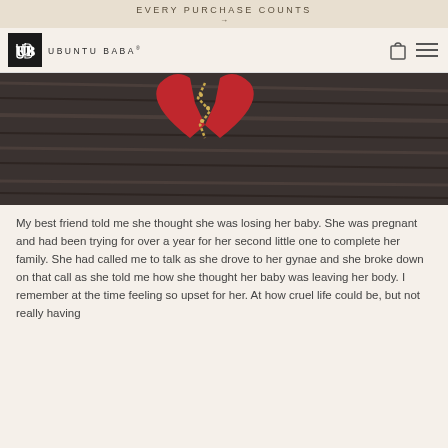EVERY PURCHASE COUNTS →
[Figure (logo): Ubuntu Baba logo with UB monogram in black square and brand name text]
[Figure (photo): A broken red heart on a wooden surface, with gold stitching along the crack]
My best friend told me she thought she was losing her baby. She was pregnant and had been trying for over a year for her second little one to complete her family. She had called me to talk as she drove to her gynae and she broke down on that call as she told me how she thought her baby was leaving her body. I remember at the time feeling so upset for her. At how cruel life could be, but not really having